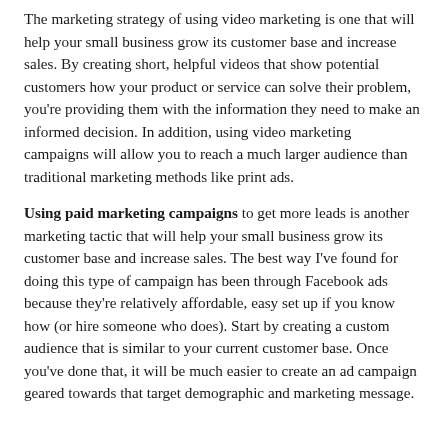The marketing strategy of using video marketing is one that will help your small business grow its customer base and increase sales. By creating short, helpful videos that show potential customers how your product or service can solve their problem, you're providing them with the information they need to make an informed decision. In addition, using video marketing campaigns will allow you to reach a much larger audience than traditional marketing methods like print ads.
Using paid marketing campaigns to get more leads is another marketing tactic that will help your small business grow its customer base and increase sales. The best way I've found for doing this type of campaign has been through Facebook ads because they're relatively affordable, easy set up if you know how (or hire someone who does). Start by creating a custom audience that is similar to your current customer base. Once you've done that, it will be much easier to create an ad campaign geared towards that target demographic and marketing message.